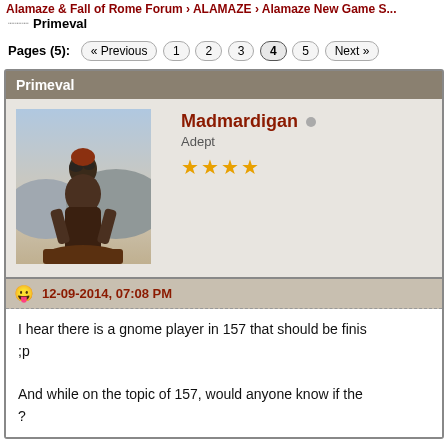Alamaze & Fall of Rome Forum › ALAMAZE › Alamaze New Game S...
Primeval
Pages (5): « Previous 1 2 3 4 5 Next »
Primeval
Madmardigan
Adept
★★★★
12-09-2014, 07:08 PM
I hear there is a gnome player in 157 that should be finis
;p

And while on the topic of 157, would anyone know if the
?